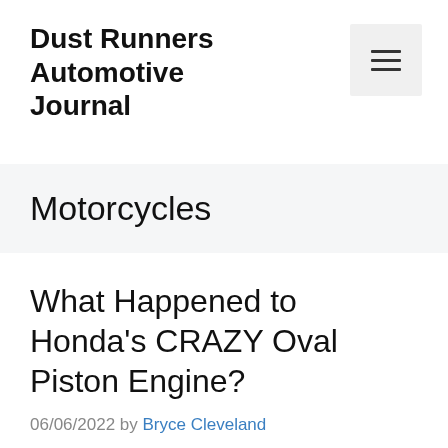Dust Runners Automotive Journal
Motorcycles
What Happened to Honda's CRAZY Oval Piston Engine?
06/06/2022 by Bryce Cleveland